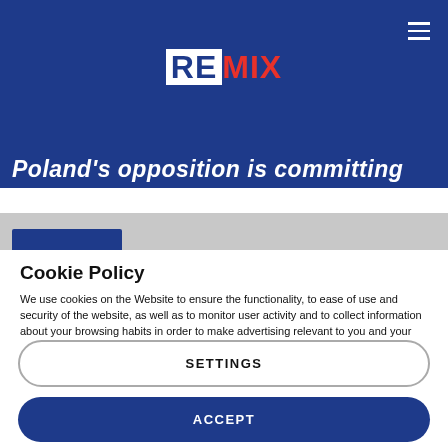[Figure (logo): REMIX news logo — white box with dark blue RE and red MIX text, on dark blue header bar with hamburger menu icon top right]
Poland's opposition is committing
Cookie Policy
We use cookies on the Website to ensure the functionality, to ease of use and security of the website, as well as to monitor user activity and to collect information about your browsing habits in order to make advertising relevant to you and your interests.
Clicking on "Accept" you can allow all cookies. If you would like to reject or customize, please click on "Settings".
Read more: Cookie Policy
SETTINGS
ACCEPT